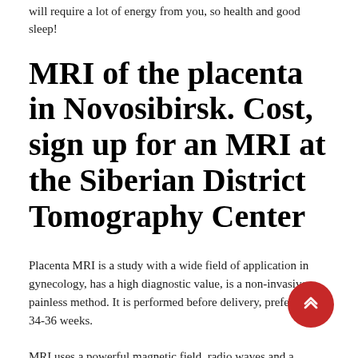will require a lot of energy from you, so health and good sleep!
MRI of the placenta in Novosibirsk. Cost, sign up for an MRI at the Siberian District Tomography Center
Placenta MRI is a study with a wide field of application in gynecology, has a high diagnostic value, is a non-invasive, painless method. It is performed before delivery, preferably at 34-36 weeks.
MRI uses a powerful magnetic field, radio waves and a computer to produce detailed images of the body's internal structures.MRI does not use ionizing radiation (X-rays).